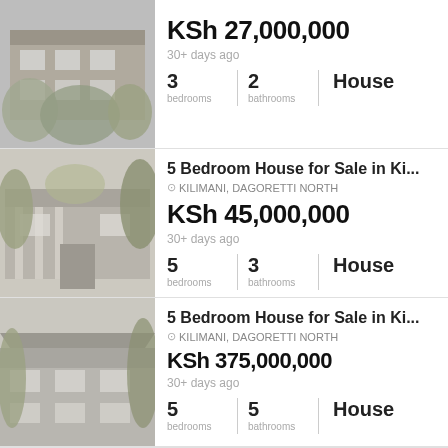[Figure (photo): Photo of a house exterior with vegetation, partial view]
KSh 27,000,000
30+ days ago
3 bedrooms | 2 bathrooms | House
[Figure (photo): Photo of a house exterior with trees]
5 Bedroom House for Sale in Ki...
KILIMANI, DAGORETTI NORTH
KSh 45,000,000
30+ days ago
5 bedrooms | 3 bathrooms | House
[Figure (photo): Photo of a house exterior]
5 Bedroom House for Sale in Ki...
KILIMANI, DAGORETTI NORTH
KSh 375,000,000
30+ days ago
5 bedrooms | 5 bathrooms | House